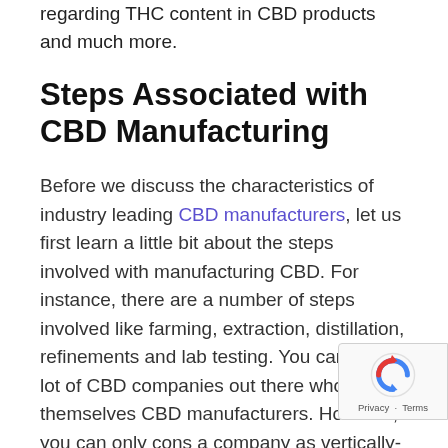regarding THC content in CBD products and much more.
Steps Associated with CBD Manufacturing
Before we discuss the characteristics of industry leading CBD manufacturers, let us first learn a little bit about the steps involved with manufacturing CBD. For instance, there are a number of steps involved like farming, extraction, distillation, refinements and lab testing. You can find a lot of CBD companies out there who claim themselves CBD manufacturers. However, you can only cons a company as vertically-integrated only when they